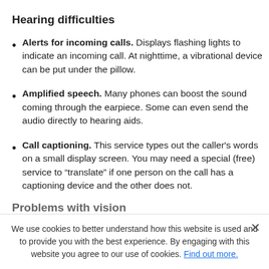Hearing difficulties
Alerts for incoming calls. Displays flashing lights to indicate an incoming call. At nighttime, a vibrational device can be put under the pillow.
Amplified speech. Many phones can boost the sound coming through the earpiece. Some can even send the audio directly to hearing aids.
Call captioning. This service types out the caller's words on a small display screen. You may need a special (free) service to “translate” if one person on the call has a captioning device and the other does not.
Problems with vision
Large-button display. Big numbers are easier to see and accurately dial.
We use cookies to better understand how this website is used and to provide you with the best experience. By engaging with this website you agree to our use of cookies. Find out more.